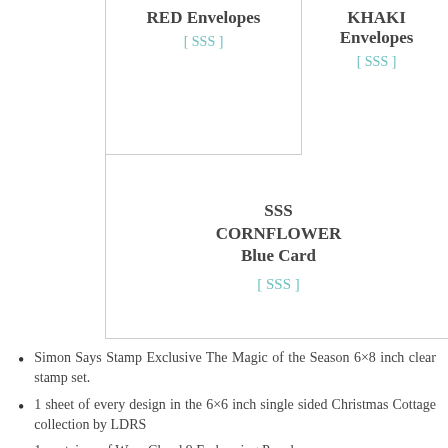|  | RED Envelopes
[ SSS ] | KHAKI Envelopes
[ SSS ] | SSS CORNFLOWER Blue Card
[ SSS ] |
| --- | --- | --- | --- |
Simon Says Stamp Exclusive The Magic of the Season 6×8 inch clear stamp set.
1 sheet of every design in the 6×6 inch single sided Christmas Cottage collection by LDRS
1 container of Wow Cloud 9 Embossing Powder